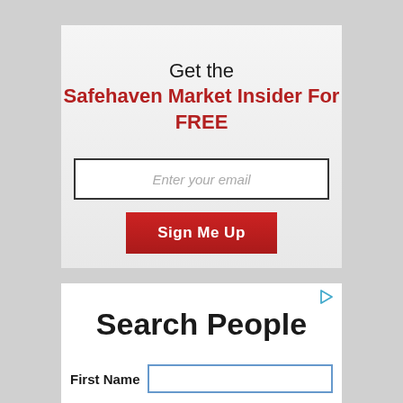Get the Safehaven Market Insider For FREE
[Figure (screenshot): Email signup form with text input field labeled 'Enter your email' and a red 'Sign Me Up' button]
Search People
[Figure (screenshot): Search People advertisement widget with First Name input field]